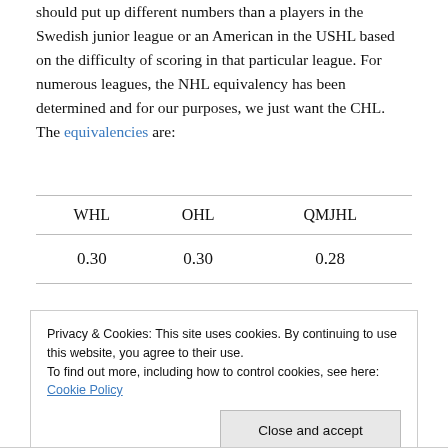should put up different numbers than a players in the Swedish junior league or an American in the USHL based on the difficulty of scoring in that particular league. For numerous leagues, the NHL equivalency has been determined and for our purposes, we just want the CHL. The equivalencies are:
| WHL | OHL | QMJHL |
| --- | --- | --- |
| 0.30 | 0.30 | 0.28 |
Privacy & Cookies: This site uses cookies. By continuing to use this website, you agree to their use. To find out more, including how to control cookies, see here: Cookie Policy